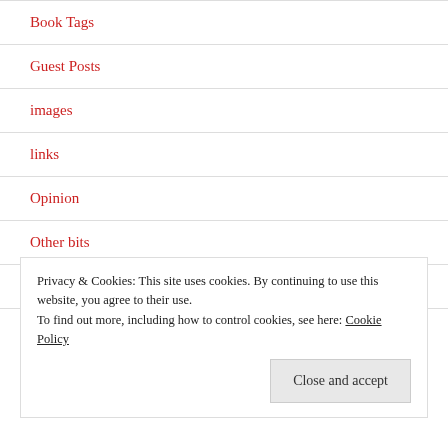Book Tags
Guest Posts
images
links
Opinion
Other bits
poem
Privacy & Cookies: This site uses cookies. By continuing to use this website, you agree to their use.
To find out more, including how to control cookies, see here: Cookie Policy
Close and accept